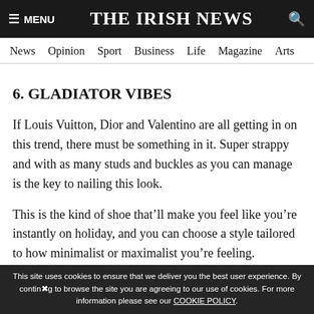≡ MENU  THE IRISH NEWS  🔍
News  Opinion  Sport  Business  Life  Magazine  Arts
6. GLADIATOR VIBES
If Louis Vuitton, Dior and Valentino are all getting in on this trend, there must be something in it. Super strappy and with as many studs and buckles as you can manage is the key to nailing this look.
This is the kind of shoe that'll make you feel like you're instantly on holiday, and you can choose a style tailored to how minimalist or maximalist you're feeling.
This site uses cookies to ensure that we deliver you the best user experience. By continuing to browse the site you are agreeing to our use of cookies. For more information please see our COOKIE POLICY.